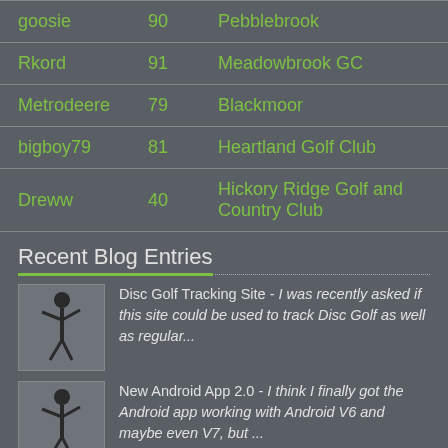| Name | Score | Course |
| --- | --- | --- |
| goosie | 90 | Pebblebrook |
| Rkord | 91 | Meadowbrook GC |
| Metrodeere | 79 | Blackmoor |
| bigboy79 | 81 | Heartland Golf Club |
| Dreww | 40 | Hickory Ridge Golf and Country Club |
Recent Blog Entries
[Figure (illustration): Golf player silhouette icon for blog entry thumbnail]
Disc Golf Tracking Site - I was recently asked if this site could be used to track Disc Golf as well as regular...
[Figure (illustration): Golf player silhouette icon for blog entry thumbnail]
New Android App 2.0 - I think I finally got the Android app working with Android V6 and maybe even V7, but ...
Stay Connected